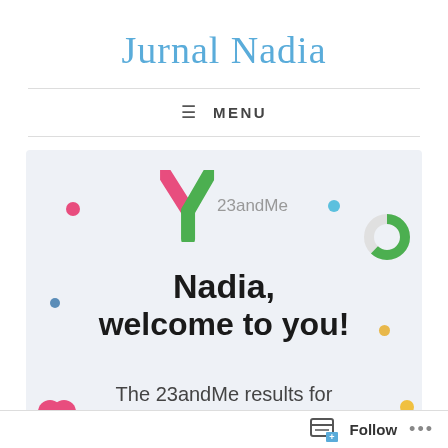Jurnal Nadia
≡ MENU
[Figure (screenshot): 23andMe welcome screen showing the 23andMe logo with a stylized X, colorful decorative dots, bold text reading 'Nadia, welcome to you!' and subtitle 'The 23andMe results for']
Follow ...